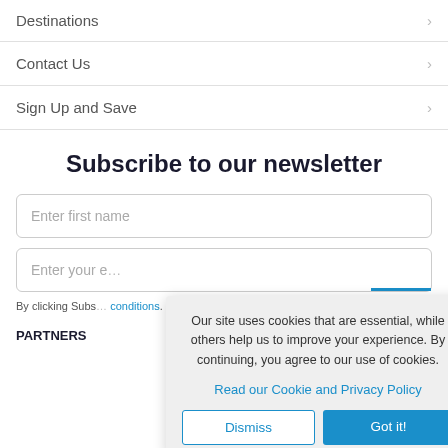Destinations
Contact Us
Sign Up and Save
Subscribe to our newsletter
Enter first name
Enter your email
By clicking Subscribe, you agree to our terms and conditions.
PARTNERS
Our site uses cookies that are essential, while others help us to improve your experience. By continuing, you agree to our use of cookies.
Read our Cookie and Privacy Policy
Dismiss
Got it!